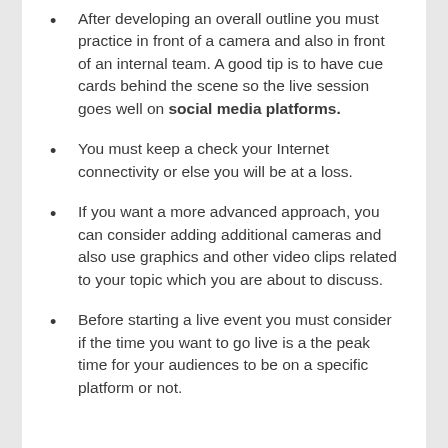After developing an overall outline you must practice in front of a camera and also in front of an internal team. A good tip is to have cue cards behind the scene so the live session goes well on social media platforms.
You must keep a check your Internet connectivity or else you will be at a loss.
If you want a more advanced approach, you can consider adding additional cameras and also use graphics and other video clips related to your topic which you are about to discuss.
Before starting a live event you must consider if the time you want to go live is a the peak time for your audiences to be on a specific platform or not.